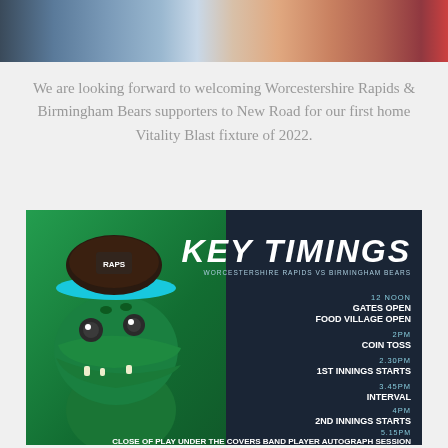[Figure (photo): Partial photo of people, cropped at top of page]
We are looking forward to welcoming Worcestershire Rapids & Birmingham Bears supporters to New Road for our first home Vitality Blast fixture of 2022.
[Figure (infographic): Key Timings infographic for Worcestershire Rapids vs Birmingham Bears cricket match, featuring a green alligator mascot wearing a cap on the left, and a dark blue/teal panel on the right listing: 12 NOON - GATES OPEN / FOOD VILLAGE OPEN; 2PM - COIN TOSS; 2.30PM - 1ST INNINGS STARTS; 3.45PM - INTERVAL; 4PM - 2ND INNINGS STARTS; 5.15PM - CLOSE OF PLAY / UNDER THE COVERS BAND / PLAYER AUTOGRAPH SESSION]